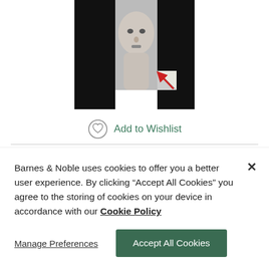[Figure (photo): Black and white headshot photo of a bald man, with a folded corner effect revealing a red arrow in the lower right of the image]
Add to Wishlist
View All Available Formats & Editions
PAPERBACK
NOOK BOOK
Barnes & Noble uses cookies to offer you a better user experience. By clicking "Accept All Cookies" you agree to the storing of cookies on your device in accordance with our Cookie Policy
Manage Preferences
Accept All Cookies